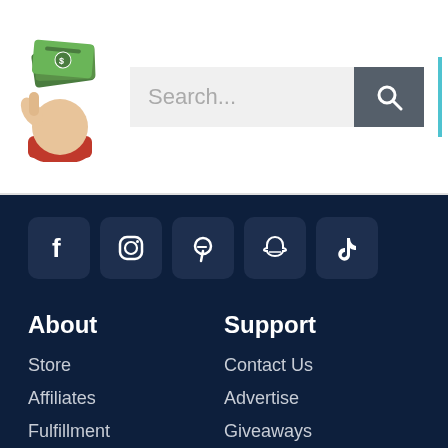[Figure (logo): Hand holding money bills logo for Shut Up And Take My Money website]
Search...
[Figure (illustration): Social media icons: Facebook, Instagram, Pinterest, Snapchat, TikTok]
About
Support
Store
Contact Us
Affiliates
Advertise
Fulfillment
Giveaways
Investors
© Shut Up And Take My Money. 2012-2022 SUATMM Inc All Rights Reserved.